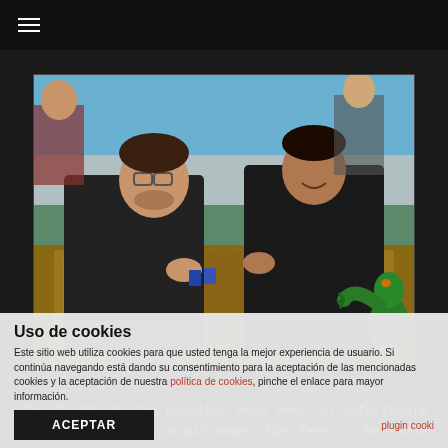☰
[Figure (photo): Two men playing a board game at a table covered with game cards, dice, tokens, and a brown/tan game board. A green monster figurine is visible on the right side. Other people are visible in the background in what appears to be a gaming convention.]
The flight of the Desultor ends when an unfortunate CRONOS card opens a pit under his feet... he falls in it and is defeated! But no other player is awarded that casualty, and the other lanistae split the Palm for
Uso de cookies
Este sitio web utiliza cookies para que usted tenga la mejor experiencia de usuario. Si continúa navegando está dando su consentimiento para la aceptación de las mencionadas cookies y la aceptación de nuestra política de cookies, pinche el enlace para mayor información.
ACEPTAR  plugin cooki